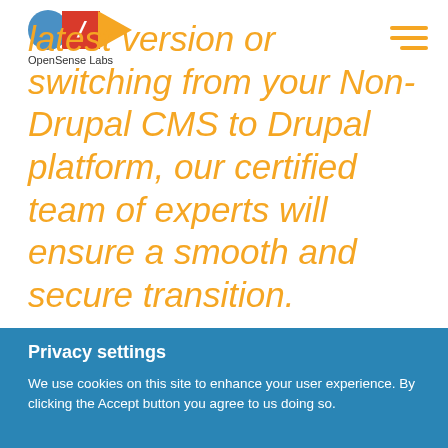[Figure (logo): OpenSense Labs logo with blue circle, red square with slash, and orange triangle]
latest version or switching from your Non-Drupal CMS to Drupal platform, our certified team of experts will ensure a smooth and secure transition.
Privacy settings
We use cookies on this site to enhance your user experience. By clicking the Accept button you agree to us doing so.